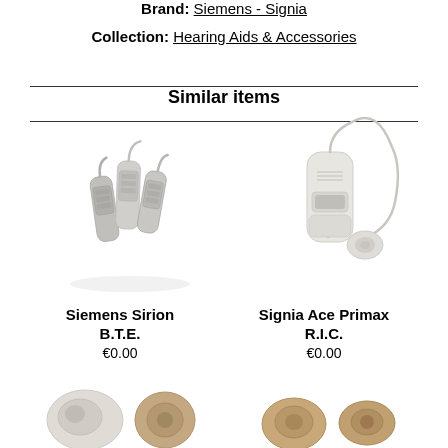Brand: Siemens - Signia
Collection: Hearing Aids & Accessories
Similar items
[Figure (photo): Three small Siemens Sirion B.T.E. hearing aids in silver/grey color, shown together with reflections]
Siemens Sirion B.T.E.
€0.00
[Figure (photo): Signia Ace Primax R.I.C. hearing aid in white/cream color with wire and ear tip, shown on white background]
Signia Ace Primax R.I.C.
€0.00
[Figure (photo): Two small in-ear hearing aids in beige/brown color, partially visible at bottom of page]
[Figure (photo): Two small hearing aids in beige/tan color, partially visible at bottom of page]